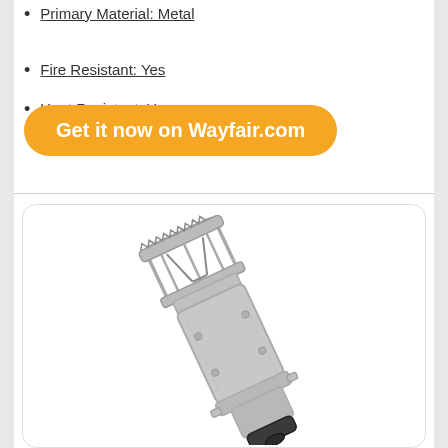Primary Material: Metal
Fire Resistant: Yes
Heat Resistant: Yes
Get it now on Wayfair.com
[Figure (photo): A metal bayonet-base light bulb with an open cage top structure, tilted at an angle on a white background.]